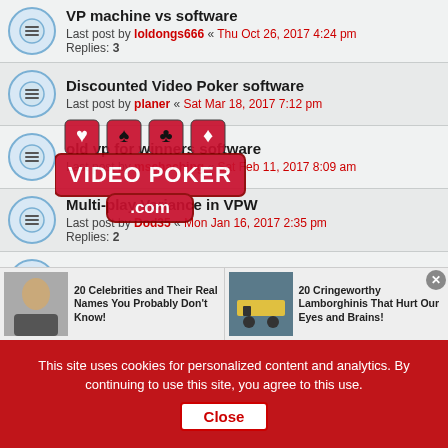VP machine vs software
Last post by loldongs666 « Thu Oct 26, 2017 4:24 pm
Replies: 3
Discounted Video Poker software
Last post by planer « Sat Mar 18, 2017 7:12 pm
[Figure (logo): VideoPoker.com watermark logo overlaid on page]
old vp for winners software
Last post by mschaching « Sat Feb 11, 2017 8:09 am
Multi-play Variance in VPW
Last post by Dod35 « Mon Jan 16, 2017 2:35 pm
Replies: 2
90's poker sotware
Last post by KEMALS « Sun Oct 30, 2016 7:57 am
Enhancing and identifying players
Last post by grassroots1972 « Tue Sep 06, 2016 4:17 pm
Frugal Video Poker
Last post by jem2016 « Sat Apr 30, 2016 11:17 pm
[Figure (infographic): Advertisement bar: '20 Celebrities and Their Real Names You Probably Don't Know!' and '20 Cringeworthy Lamborghinis That Hurt Our Eyes and Brains!']
This site uses cookies for personalized content and analytics. By continuing to use this site, you agree to this use. Close